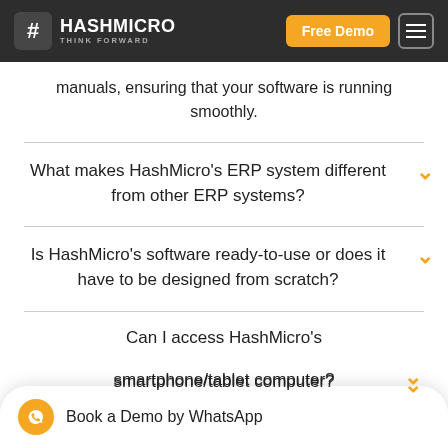HashMicro - Think Forward | Free Demo | Menu
manuals, ensuring that your software is running smoothly.
What makes HashMicro's ERP system different from other ERP systems?
Is HashMicro's software ready-to-use or does it have to be designed from scratch?
Can I access HashMicro's smartphone/tablet computer?
Book a Demo by WhatsApp